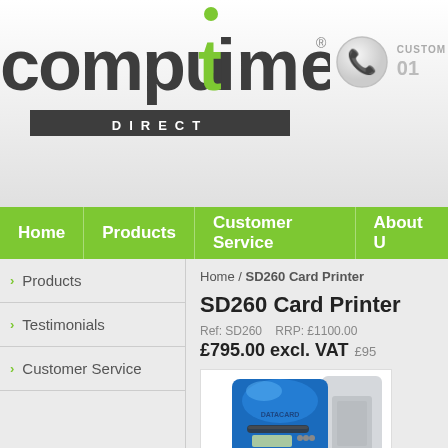[Figure (logo): Computime Direct logo with green accented letters and DIRECT banner]
CUSTOMER 01
Home
Products
Customer Service
About U
Products
Testimonials
Customer Service
Home / SD260 Card Printer
SD260 Card Printer
Ref: SD260   RRP: £1100.00
£795.00 excl. VAT   £95
[Figure (photo): SD260 Card Printer product photo - blue and grey card printer]